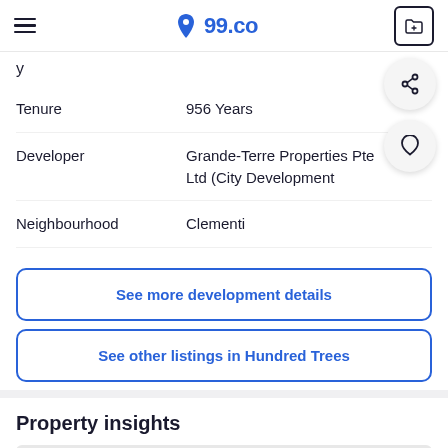99.co
y
| Field | Value |
| --- | --- |
| Tenure | 956 Years |
| Developer | Grande-Terre Properties Pte Ltd (City Development |
| Neighbourhood | Clementi |
See more development details
See other listings in Hundred Trees
Property insights
This listing is no longer available
bedroom for sale in District 5